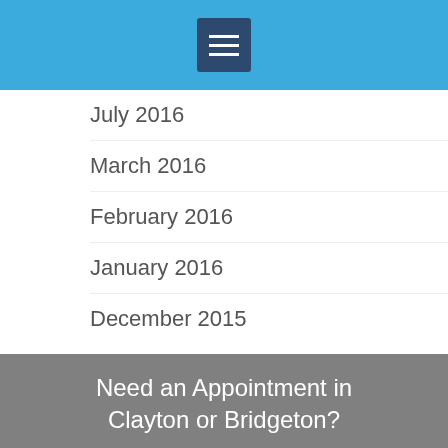July 2016
March 2016
February 2016
January 2016
December 2015
Need an Appointment in Clayton or Bridgeton?
Call Us in Bridgeton 314-298-1400 or in Clayton 314-721-5390 to schedule your